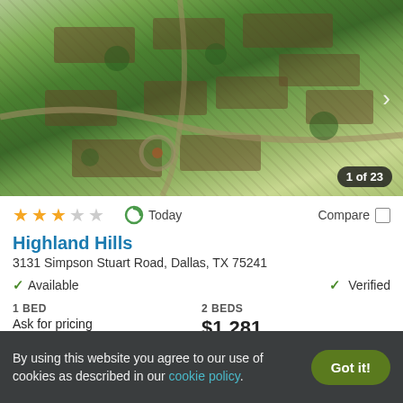[Figure (photo): Aerial view of Highland Hills apartment complex with green lawns and parking areas]
1 of 23
★★★☆☆  Today  Compare
Highland Hills
3131 Simpson Stuart Road, Dallas, TX 75241
✓ Available   ✓ Verified
1 BED
Ask for pricing
2 BEDS
$1,281
View Details  Contact Property
By using this website you agree to our use of cookies as described in our cookie policy.